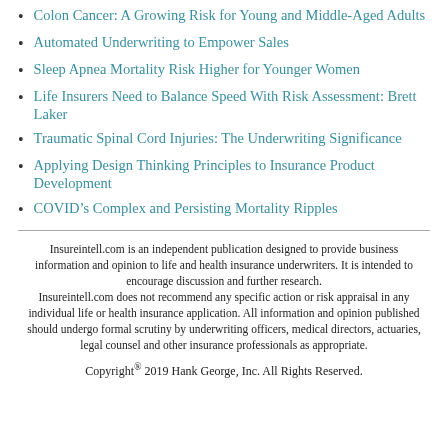Colon Cancer: A Growing Risk for Young and Middle-Aged Adults
Automated Underwriting to Empower Sales
Sleep Apnea Mortality Risk Higher for Younger Women
Life Insurers Need to Balance Speed With Risk Assessment: Brett Laker
Traumatic Spinal Cord Injuries: The Underwriting Significance
Applying Design Thinking Principles to Insurance Product Development
COVID’s Complex and Persisting Mortality Ripples
Insureintell.com is an independent publication designed to provide business information and opinion to life and health insurance underwriters. It is intended to encourage discussion and further research. Insureintell.com does not recommend any specific action or risk appraisal in any individual life or health insurance application. All information and opinion published should undergo formal scrutiny by underwriting officers, medical directors, actuaries, legal counsel and other insurance professionals as appropriate.
Copyright® 2019 Hank George, Inc. All Rights Reserved.